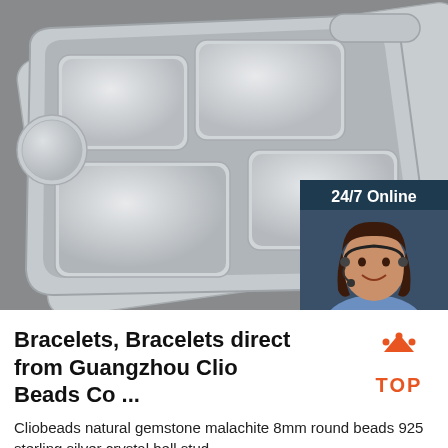[Figure (photo): Product photo of a stainless steel divided meal tray with 5 compartments (4 rectangular and 1 circular), placed on a gray geometric patterned surface. Overlaid in the bottom-right corner is a customer service chat widget showing '24/7 Online', a female customer service agent wearing a headset, italic text 'Click here for free chat !', and an orange button labeled 'QUOTATION'.]
Bracelets, Bracelets direct from Guangzhou Clio Beads Co ...
[Figure (logo): TOP badge logo with orange triangular arrow pointing up and text 'TOP' below in orange with decorative dots.]
Cliobeads natural gemstone malachite 8mm round beads 925 sterling silver crystal bell stud